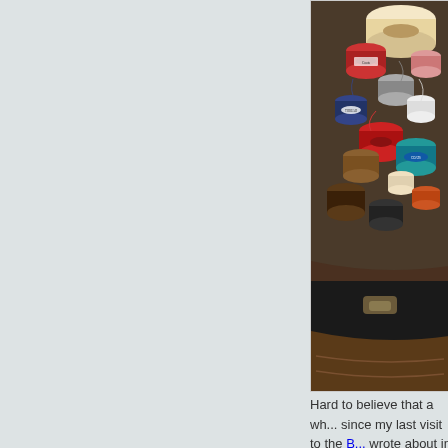[Figure (photo): A pile of colorful thread spools and bobbins overflowing from a dark sewing box or case, including red, pink, blue, gray, cream, brown, and teal threads in various sizes.]
Hard to believe that a wh... since my last visit to the B... wrote about in April, right...